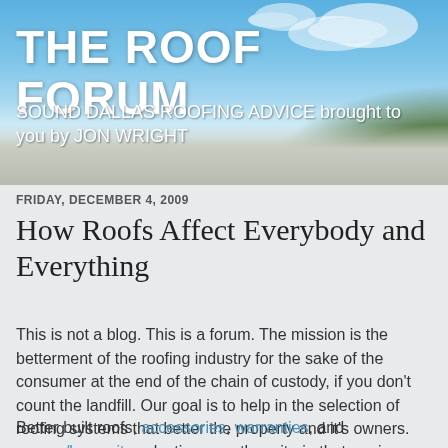[Figure (photo): Header banner with outdoor landscape photo showing blue sky with clouds and green trees/road, with overlaid text.]
THE ROOF FORUM
SOUND DALLAS ROOFING ADVICE brought to you by JON WRIGHT
FRIDAY, DECEMBER 4, 2009
How Roofs Affect Everybody and Everything
This is not a blog. This is a forum. The mission is the betterment of the roofing industry for the sake of the consumer at the end of the chain of custody, if you don't count the landfill. Our goal is to help in the selection of roofing systems that better the property and it's owners.
Better built roofs, accessories, warranties, and energy/longevity selections are the criteria that our journey